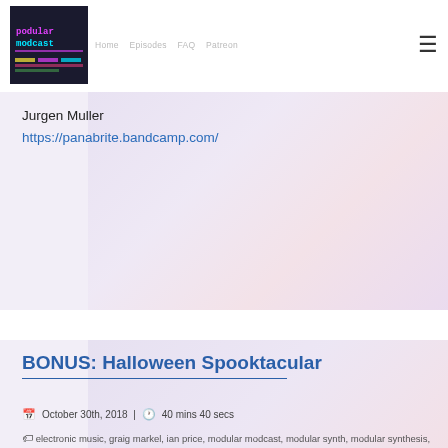Podular Modcast — Home | Episodes | FAQ | Patreon
Jurgen Muller
https://panabrite.bandcamp.com/
BONUS: Halloween Spooktacular
October 30th, 2018 | 40 mins 40 secs
electronic music, graig markel, ian price, modular modcast, modular synth, modular synthesis, modular synthesizer, podular modcast, recovery effects, seattle, tim held
Let's get weird
Episode 29: Ben Hinz part 2